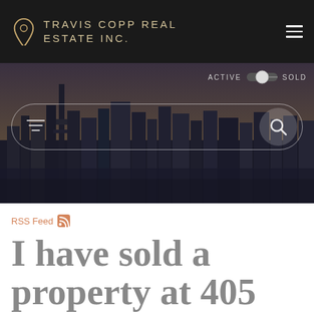TRAVIS COPP REAL ESTATE INC.
[Figure (screenshot): City skyline hero image with search bar overlay, ACTIVE/SOLD toggle, and filter/search controls]
RSS Feed
I have sold a property at 405 511 56 AVE SW in CALGARY